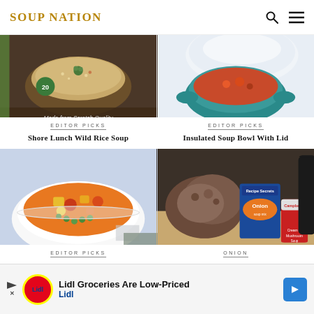SOUP NATION
[Figure (photo): Shore Lunch Wild Rice Soup product photo - bowl of wild rice soup with herbs on top, "Made from Scratch Quality" label, number 20 badge]
EDITOR PICKS
Shore Lunch Wild Rice Soup
[Figure (photo): Insulated soup bowl with white lid and teal handles containing red soup]
EDITOR PICKS
Insulated Soup Bowl With Lid
[Figure (photo): White bowl of colorful vegetable soup with carrots, peas, corn, tomatoes and other vegetables]
EDITOR PICKS
[Figure (photo): Ingredients for onion soup: ground meat, Lipton Recipe Secrets Onion packet, Campbell's Cream of Mushroom Soup can]
ONION
Lidl Groceries Are Low-Priced
Lidl